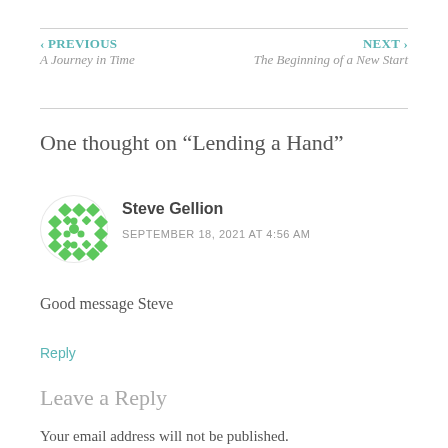‹ PREVIOUS
A Journey in Time
NEXT ›
The Beginning of a New Start
One thought on “Lending a Hand”
[Figure (illustration): Avatar icon with green diamond/dot pattern on white circular background]
Steve Gellion
SEPTEMBER 18, 2021 AT 4:56 AM
Good message Steve
Reply
Leave a Reply
Your email address will not be published.